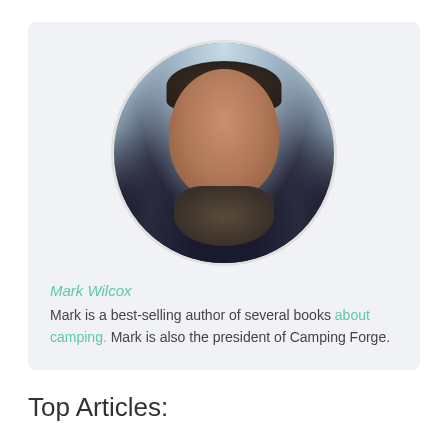[Figure (photo): Circular profile photo of a bearded man smiling, wearing a dark jacket and patterned scarf, outdoors with trees in background]
Mark Wilcox
Mark is a best-selling author of several books about camping. Mark is also the president of Camping Forge.
Top Articles: